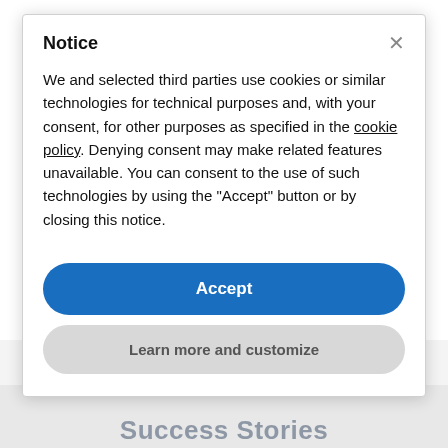Notice
We and selected third parties use cookies or similar technologies for technical purposes and, with your consent, for other purposes as specified in the cookie policy. Denying consent may make related features unavailable. You can consent to the use of such technologies by using the "Accept" button or by closing this notice.
Accept
Learn more and customize
Success Stories